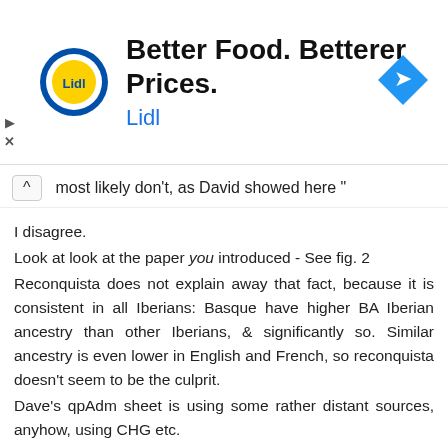[Figure (logo): Lidl advertisement banner with Lidl logo, text 'Better Food. Betterer Prices. Lidl', and a blue navigation diamond icon]
most likely don't, as David showed here "
I disagree.
Look at look at the paper you introduced - See fig. 2
Reconquista does not explain away that fact, because it is consistent in all Iberians: Basque have higher BA Iberian ancestry than other Iberians, & significantly so. Similar ancestry is even lower in English and French, so reconquista doesn't seem to be the culprit.
Dave's qpAdm sheet is using some rather distant sources, anyhow, using CHG etc.
As for the extra Armenia-EBA - sure - it could be from Roman women, as you lads like to theorize :)
I guess we'll find out soon enough when it appeared.
Reply